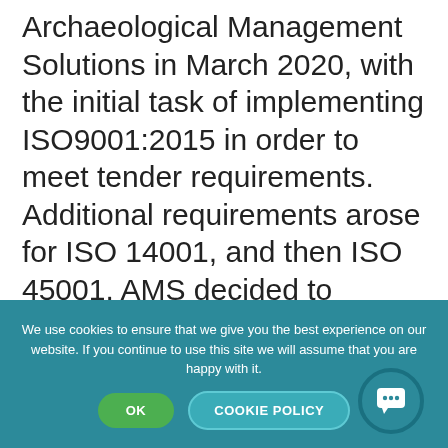Archaeological Management Solutions in March 2020, with the initial task of implementing ISO9001:2015 in order to meet tender requirements. Additional requirements arose for ISO 14001, and then ISO 45001. AMS decided to change the scope of the project from ISO9001 implementation to the implementation of an integrated management system comprising of ISO 9001, ISO 14001 and ISO 45001. The framework of all of these standards is now based on the annex SL structure which made the
We use cookies to ensure that we give you the best experience on our website. If you continue to use this site we will assume that you are happy with it.